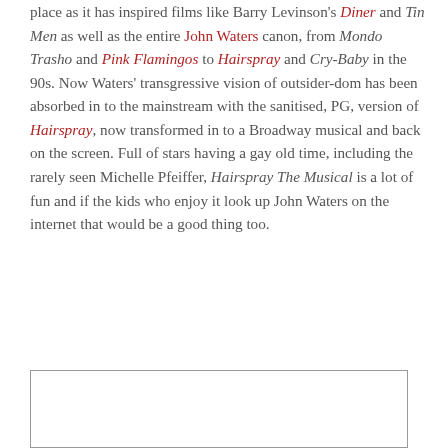place as it has inspired films like Barry Levinson's Diner and Tin Men as well as the entire John Waters canon, from Mondo Trasho and Pink Flamingos to Hairspray and Cry-Baby in the 90s. Now Waters' transgressive vision of outsider-dom has been absorbed in to the mainstream with the sanitised, PG, version of Hairspray, now transformed in to a Broadway musical and back on the screen. Full of stars having a gay old time, including the rarely seen Michelle Pfeiffer, Hairspray The Musical is a lot of fun and if the kids who enjoy it look up John Waters on the internet that would be a good thing too.
[Figure (other): Empty white box with border, possibly an image placeholder]